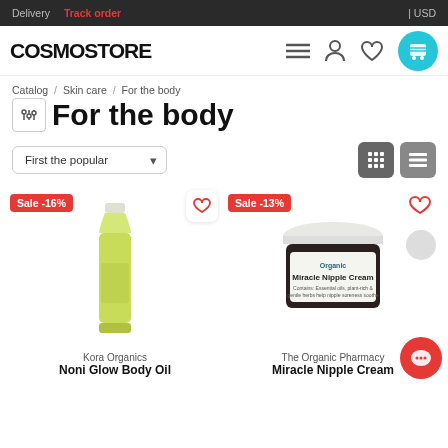Delivery  Track order  | USD
[Figure (logo): COSMOSTORE logo with hamburger menu, user icon, heart icon, and shopping cart icon in teal circle]
Catalog / Skin care / For the body
For the body
First the popular
[Figure (screenshot): Product card: Sale -16% badge, Kora Organics body oil bottle (yellow-green), Noni Glow Body Oil]
[Figure (screenshot): Product card: Sale -13% badge, The Organic Pharmacy Miracle Nipple Cream jar (dark), with chat button]